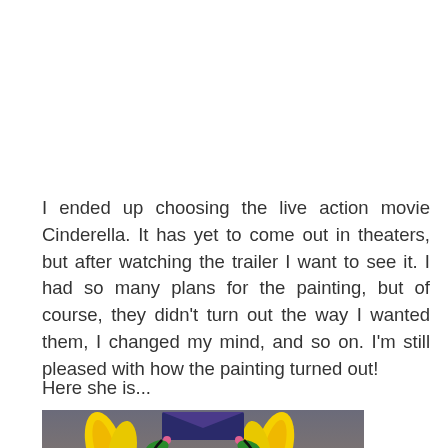I ended up choosing the live action movie Cinderella. It has yet to come out in theaters, but after watching the trailer I want to see it. I had so many plans for the painting, but of course, they didn't turn out the way I wanted them, I changed my mind, and so on. I'm still pleased with how the painting turned out!
Here she is...
[Figure (illustration): Illustration of a Cinderella-themed painting showing a decorative frame with a blue glass slipper on a pedestal, flanked by yellow flame-like feathers and scrollwork, on a dark grey/purple background.]